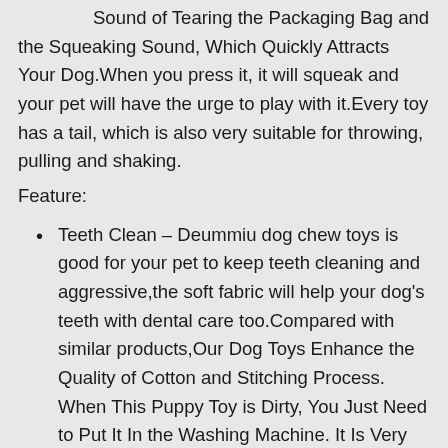Sound of Tearing the Packaging Bag and the Squeaking Sound, Which Quickly Attracts Your Dog.When you press it, it will squeak and your pet will have the urge to play with it.Every toy has a tail, which is also very suitable for throwing, pulling and shaking.
Feature:
Teeth Clean – Deummiu dog chew toys is good for your pet to keep teeth cleaning and aggressive,the soft fabric will help your dog's teeth with dental care too.Compared with similar products,Our Dog Toys Enhance the Quality of Cotton and Stitching Process. When This Puppy Toy is Dirty, You Just Need to Put It In the Washing Machine. It Is Very Convenient to Clean and Save Your Time.
Feature: